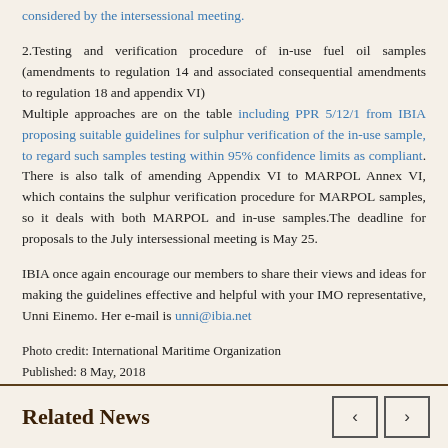considered by the intersessional meeting.
2.Testing and verification procedure of in-use fuel oil samples (amendments to regulation 14 and associated consequential amendments to regulation 18 and appendix VI) Multiple approaches are on the table including PPR 5/12/1 from IBIA proposing suitable guidelines for sulphur verification of the in-use sample, to regard such samples testing within 95% confidence limits as compliant. There is also talk of amending Appendix VI to MARPOL Annex VI, which contains the sulphur verification procedure for MARPOL samples, so it deals with both MARPOL and in-use samples.The deadline for proposals to the July intersessional meeting is May 25.
IBIA once again encourage our members to share their views and ideas for making the guidelines effective and helpful with your IMO representative, Unni Einemo. Her e-mail is unni@ibia.net
Photo credit: International Maritime Organization
Published: 8 May, 2018
Related News